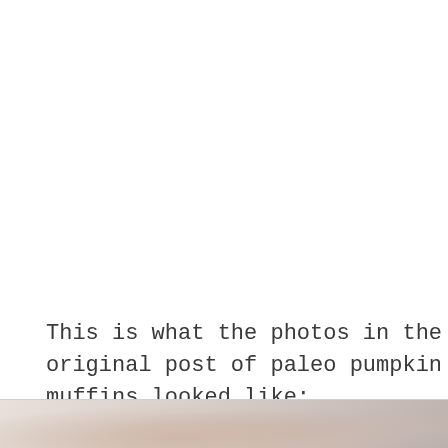This is what the photos in the original post of paleo pumpkin muffins looked like:
[Figure (photo): Partial photo strip at the bottom of the page showing a blurred/close-up image of paleo pumpkin muffins with a close (X) button in the bottom right corner.]